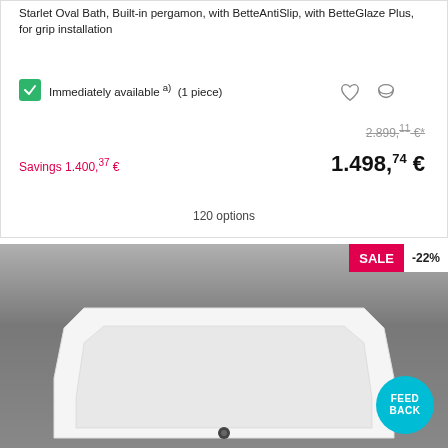Starlet Oval Bath, Built-in pergamon, with BetteAntiSlip, with BetteGlaze Plus, for grip installation
Immediately available a) (1 piece)
2.899,11 €*
Savings 1.400,37 €
1.498,74 €
120 options
[Figure (photo): White oval bathtub on grey gradient background with SALE -22% badge and FEEDBACK button]